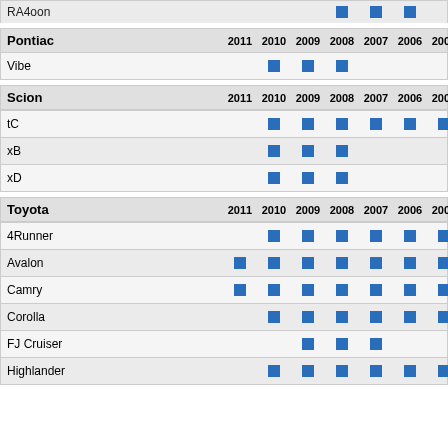|  | 2011 | 2010 | 2009 | 2008 | 2007 | 2006 | 2005 | 2004 | 2003 |
| --- | --- | --- | --- | --- | --- | --- | --- | --- | --- |
| RA4oon |  |  |  | ■ | ■ | ■ |  |  |  |
| Pontiac | 2011 | 2010 | 2009 | 2008 | 2007 | 2006 | 2005 | 2004 | 2003 |
| --- | --- | --- | --- | --- | --- | --- | --- | --- | --- |
| Vibe |  | ■ | ■ | ■ |  |  |  |  |  |
| Scion | 2011 | 2010 | 2009 | 2008 | 2007 | 2006 | 2005 | 2004 | 2003 |
| --- | --- | --- | --- | --- | --- | --- | --- | --- | --- |
| tC |  | ■ | ■ | ■ | ■ | ■ | ■ |  |  |
| xB |  | ■ | ■ | ■ |  |  |  |  |  |
| xD |  | ■ | ■ | ■ |  |  |  |  |  |
| Toyota | 2011 | 2010 | 2009 | 2008 | 2007 | 2006 | 2005 | 2004 | 2003 |
| --- | --- | --- | --- | --- | --- | --- | --- | --- | --- |
| 4Runner |  | ■ | ■ | ■ | ■ | ■ | ■ | ■ | ■ |
| Avalon | ■ | ■ | ■ | ■ | ■ | ■ | ■ |  |  |
| Camry | ■ | ■ | ■ | ■ | ■ | ■ | ■ | ■ | ■ |
| Corolla |  | ■ | ■ | ■ | ■ | ■ | ■ |  |  |
| FJ Cruiser |  |  | ■ | ■ | ■ |  |  |  |  |
| Highlander |  | ■ | ■ | ■ | ■ | ■ | ■ | ■ |  |